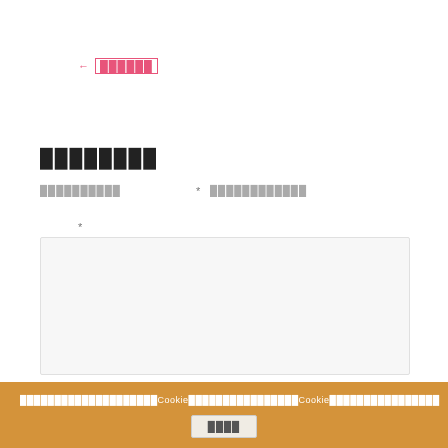← ██████
████████
██████████  *  ████████████
*
[Figure (other): Empty textarea/input box with light gray background]
████████████████████Cookie████████████████Cookie████████████████
████